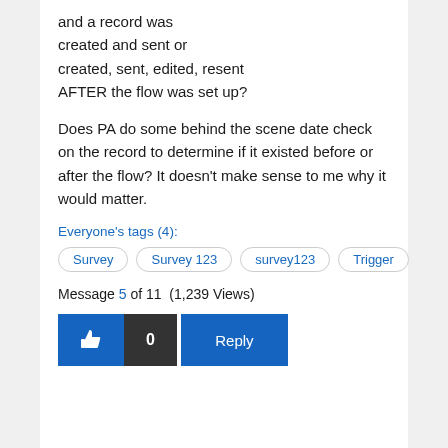and a record was
created and sent or
created, sent, edited, resent
AFTER the flow was set up?

Does PA do some behind the scene date check on the record to determine if it existed before or after the flow? It doesn't make sense to me why it would matter.
Everyone's tags (4):
Survey
Survey 123
survey123
Trigger
Message 5 of 11 (1,239 Views)